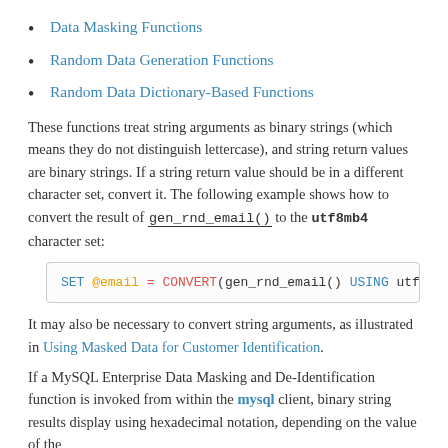Data Masking Functions
Random Data Generation Functions
Random Data Dictionary-Based Functions
These functions treat string arguments as binary strings (which means they do not distinguish lettercase), and string return values are binary strings. If a string return value should be in a different character set, convert it. The following example shows how to convert the result of gen_rnd_email() to the utf8mb4 character set:
[Figure (screenshot): Code block showing: SET @email = CONVERT(gen_rnd_email() USING utf8mb4)]
It may also be necessary to convert string arguments, as illustrated in Using Masked Data for Customer Identification.
If a MySQL Enterprise Data Masking and De-Identification function is invoked from within the mysql client, binary string results display using hexadecimal notation, depending on the value of the